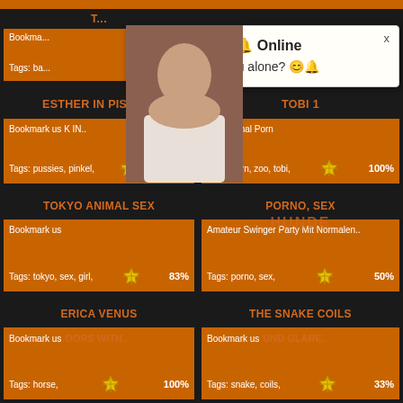[Figure (screenshot): Pop-up notification overlay showing a profile photo and message from 'Sophie' saying 'Hey baby.. are you alone?']
ESTHER IN PISSING
Bookmark us
Tags: pussies, pinkel,
100%
TOBI 1
Zoo Animal Porn
Tags: porn, zoo, tobi,
100%
TOKYO ANIMAL SEX
Bookmark us
Tags: tokyo, sex, girl,
83%
PORNO, SEX
Amateur Swinger Party Mit Normalen..
Tags: porno, sex,
50%
ERICA VENUS
Bookmark us
Tags: horse,
100%
THE SNAKE COILS
Bookmark us
Tags: snake, coils,
33%